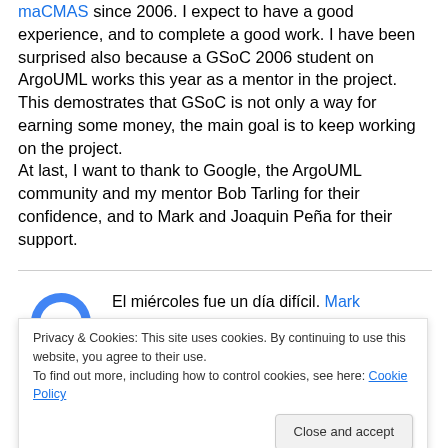maCMAS since 2006. I expect to have a good experience, and to complete a good work. I have been surprised also because a GSoC 2006 student on ArgoUML works this year as a mentor in the project. This demostrates that GSoC is not only a way for earning some money, the main goal is to keep working on the project. At last, I want to thank to Google, the ArgoUML community and my mentor Bob Tarling for their confidence, and to Mark and Joaquin Peña for their support.
[Figure (logo): Google logo (partial, showing the 'G' curve in blue and colored dots)]
El miércoles fue un día difícil. Mark
Privacy & Cookies: This site uses cookies. By continuing to use this website, you agree to their use. To find out more, including how to control cookies, see here: Cookie Policy
Close and accept
de afrontamos a nuestras dudas. El paso la noche en